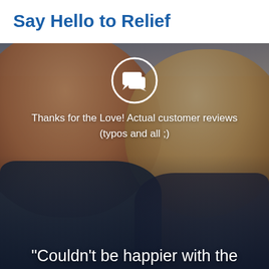Say Hello to Relief
[Figure (photo): Photo of two smiling people (a red-haired man and a blonde woman) in an outdoor setting, with a semi-transparent dark overlay. A white circular chat/speech bubble icon appears in the upper center of the photo.]
Thanks for the Love! Actual customer reviews (typos and all ;)
“Couldn’t be happier with the